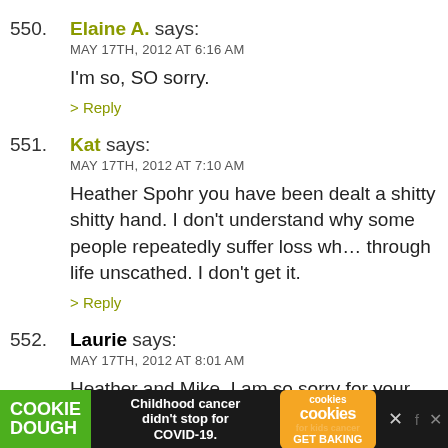550. Elaine A. says: MAY 17TH, 2012 AT 6:16 AM
I'm so, SO sorry.
> Reply
551. Kat says: MAY 17TH, 2012 AT 7:10 AM
Heather Spohr you have been dealt a shitty shitty hand. I don't understand why some people repeatedly suffer loss while others sail through life unscathed. I don't get it.
> Reply
552. Laurie says: MAY 17TH, 2012 AT 8:01 AM
Heather and Mike, I am so sorry for your loss.
> Reply
553. Michelle says:
[Figure (infographic): Advertisement banner: Cookie Dough brand ad - 'Childhood cancer didn't stop for COVID-19.' with cookies for kids cancer GET BAKING badge, close and social media buttons on dark background]